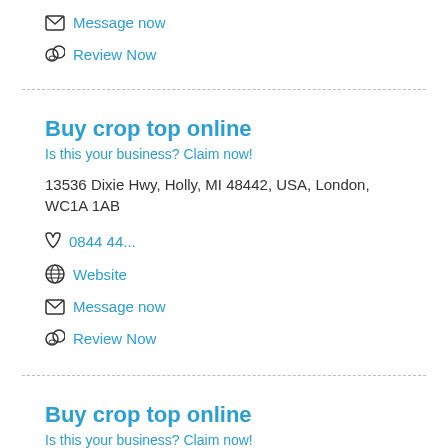Message now
Review Now
Buy crop top online
Is this your business? Claim now!
13536 Dixie Hwy, Holly, MI 48442, USA, London, WC1A 1AB
0844 44...
Website
Message now
Review Now
Buy crop top online
Is this your business? Claim now!
13536 Dixie Hwy, Holly, MI 48442, USA, London,